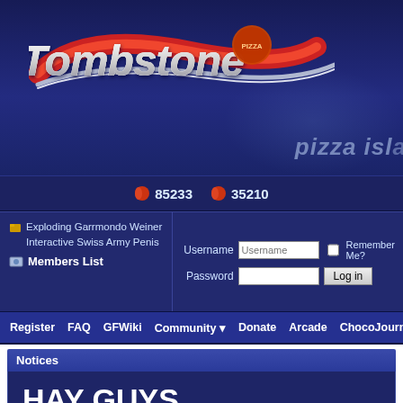[Figure (logo): Tombstone pizza website header banner with Tombstone logo (red swoosh, silver italic text), pizza island text, and dark blue background]
85233  35210
Exploding Garrmondo Weiner Interactive Swiss Army Penis
Members List
Username  Password  Remember Me?  Log in
Register  FAQ  GFWiki  Community  Donate  Arcade  ChocoJournal  Ca
Notices
HAY GUYS
All your passwords have been RESET. Please request a new password promptly. If your email address doesn't work anymore, you can contact CHZ in #gfchat on irc.synirc.net.
Welcome to the Exploding Garrmondo Weiner Interactive Swiss Army Penis